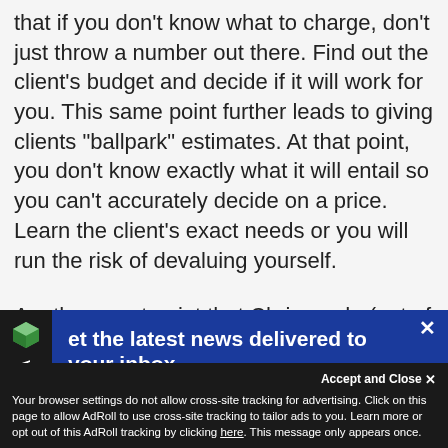that if you don't know what to charge, don't just throw a number out there. Find out the client's budget and decide if it will work for you. This same point further leads to giving clients "ballpark" estimates. At that point, you don't know exactly what it will entail so you can't accurately decide on a price. Learn the client's exact needs or you will run the risk of devaluing yourself.
Another great point that Chris made (out of
[Figure (other): Sales Cha sidebar widget with green cube icon and vertical text 'SALES CHA']
et the latest news delivered to your inbox.
on't miss out on the latest news and special fers.
Accept and Close
Your browser settings do not allow cross-site tracking for advertising. Click on this page to allow AdRoll to use cross-site tracking to tailor ads to you. Learn more or opt out of this AdRoll tracking by clicking here. This message only appears once.